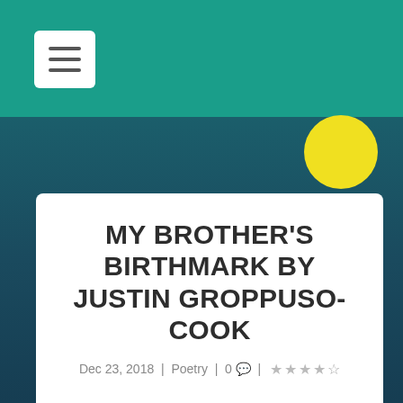[Figure (other): Teal header bar with hamburger menu icon (white box with three horizontal lines), dark teal/ocean background with yellow moon circle]
MY BROTHER'S BIRTHMARK BY JUSTIN GROPPUSO-COOK
Dec 23, 2018 | Poetry | 0 💬 | ★★★★☆
Conceived late winter, the lowlands of Alaska.
Our mother, & Dale his father,
tended to the cabin of an elder couple